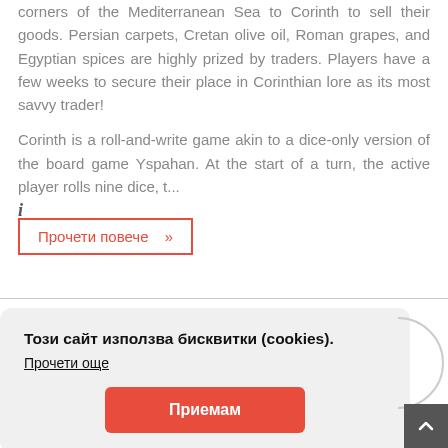corners of the Mediterranean Sea to Corinth to sell their goods. Persian carpets, Cretan olive oil, Roman grapes, and Egyptian spices are highly prized by traders. Players have a few weeks to secure their place in Corinthian lore as its most savvy trader!
Corinth is a roll-and-write game akin to a dice-only version of the board game Yspahan. At the start of a turn, the active player rolls nine dice, t...
i
Прочети повече »
Този сайт използва бисквитки (cookies).
Прочети още
Приемам